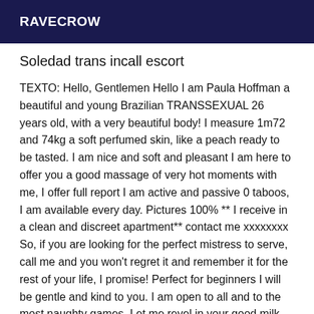RAVECROW
Soledad trans incall escort
TEXTO: Hello, Gentlemen Hello I am Paula Hoffman a beautiful and young Brazilian TRANSSEXUAL 26 years old, with a very beautiful body! I measure 1m72 and 74kg a soft perfumed skin, like a peach ready to be tasted. I am nice and soft and pleasant I am here to offer you a good massage of very hot moments with me, I offer full report I am active and passive 0 taboos, I am available every day. Pictures 100% ** I receive in a clean and discreet apartment** contact me xxxxxxxx So, if you are looking for the perfect mistress to serve, call me and you won't regret it and remember it for the rest of your life, I promise! Perfect for beginners I will be gentle and kind to you. I am open to all and to the most naughty games. Let me revel in your good milk. Notice to the submissives, I will be your mistress. I receive you in a discreet setting. Come and taste my body, my